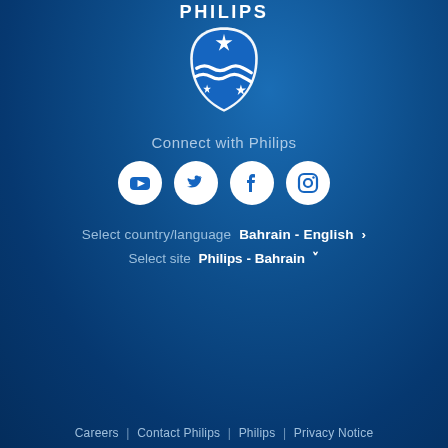[Figure (logo): Philips logo — white shield shape with star and wave pattern, PHILIPS text above]
Connect with Philips
[Figure (infographic): Four white social media icons on circular white backgrounds: YouTube, Twitter, Facebook, Instagram]
Select country/language  Bahrain - English >
Select site  Philips - Bahrain ˅
Careers | Contact Philips | Philips | Privacy Notice